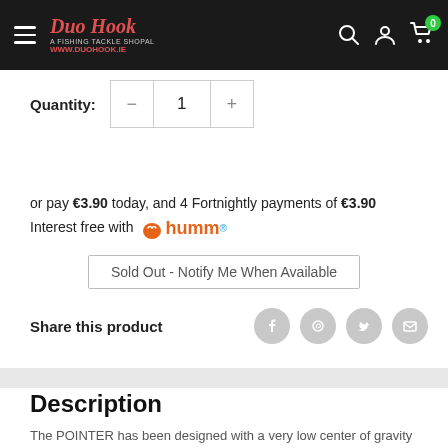[Figure (screenshot): Duo Hook fishing tackle shop website header with logo, hamburger menu, search, account, and cart icons on black background]
Quantity: 1
or pay €3.90 today, and 4 Fortnightly payments of €3.90 Interest free with humm
Sold Out - Notify Me When Available
Share this product
Description
The POINTER has been designed with a very low center of gravity